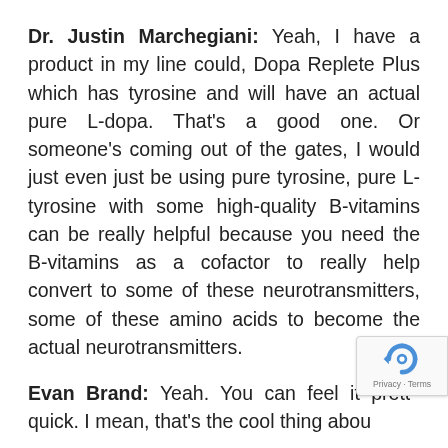Dr. Justin Marchegiani: Yeah, I have a product in my line could, Dopa Replete Plus which has tyrosine and will have an actual pure L-dopa. That's a good one. Or someone's coming out of the gates, I would just even just be using pure tyrosine, pure L-tyrosine with some high-quality B-vitamins can be really helpful because you need the B-vitamins as a cofactor to really help convert to some of these neurotransmitters, some of these amino acids to become the actual neurotransmitters.
Evan Brand: Yeah. You can feel it pretty quick. I mean, that's the cool thing about